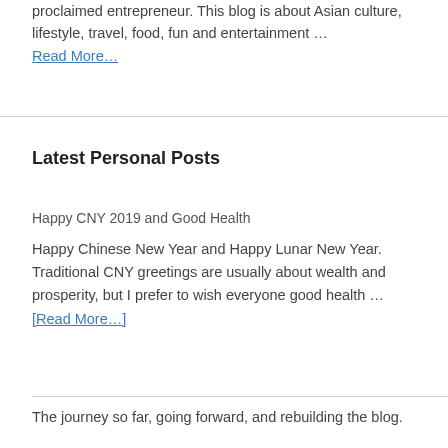proclaimed entrepreneur. This blog is about Asian culture, lifestyle, travel, food, fun and entertainment …
Read More…
Latest Personal Posts
Happy CNY 2019 and Good Health
Happy Chinese New Year and Happy Lunar New Year. Traditional CNY greetings are usually about wealth and prosperity, but I prefer to wish everyone good health … [Read More…]
The journey so far, going forward, and rebuilding the blog.